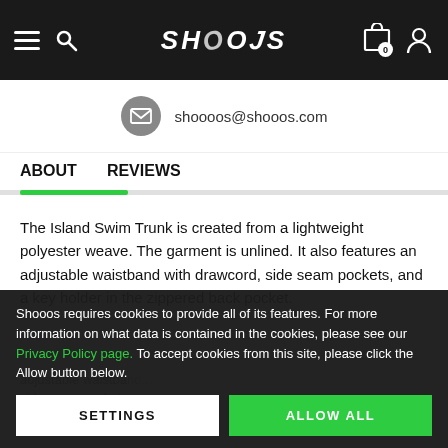SHOOOS — Navigation header with hamburger menu, search, cart (0), user icon
shoooos@shooos.com
ABOUT   REVIEWS
The Island Swim Trunk is created from a lightweight polyester weave. The garment is unlined. It also features an adjustable waistband with drawcord, side seam pockets, and a key holder in the zippered back pocket.
Shooos requires cookies to provide all of its features. For more information on what data is contained in the cookies, please see our Privacy Policy page. To accept cookies from this site, please click the Allow button below.